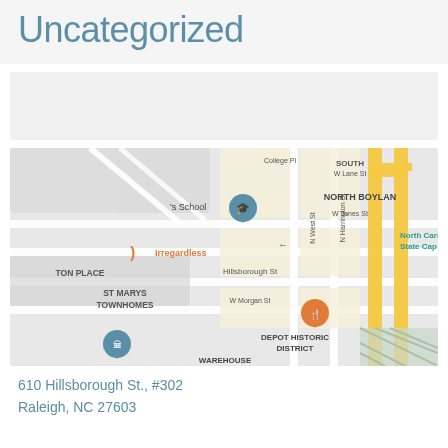Uncategorized
[Figure (map): Street map showing area around 610 Hillsborough St in Raleigh, NC. Shows neighborhoods including North Boylan, ST Marys Townhomes, Depot Historic District, Warehouse district. Features include College Pl, W Lane St, W Jones St, Hillsborough St, W Morgan St, N West St, N Harrington St streets. Shows location markers for Irregardless restaurant, North Carol State Cap, and other points of interest.]
610 Hillsborough St., #302
Raleigh, NC 27603